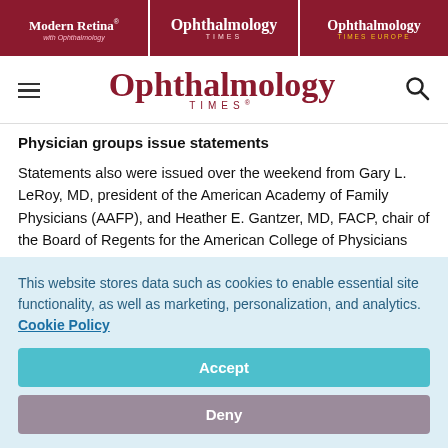[Figure (logo): Top navigation bar with three publication logos: Modern Retina with Ophthalmology, Ophthalmology Times, and Ophthalmology Times Europe on dark red background]
[Figure (logo): Ophthalmology Times main site header with hamburger menu, large red serif logo, and search icon]
Physician groups issue statements
Statements also were issued over the weekend from Gary L. LeRoy, MD, president of the American Academy of Family Physicians (AAFP), and Heather E. Gantzer, MD, FACP, chair of the Board of Regents for the American College of Physicians
This website stores data such as cookies to enable essential site functionality, as well as marketing, personalization, and analytics. Cookie Policy